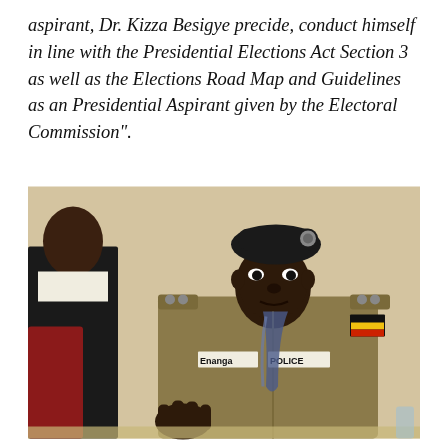aspirant, Dr. Kizza Besigye precide, conduct himself in line with the Presidential Elections Act Section 3 as well as the Elections Road Map and Guidelines as an Presidential Aspirant given by the Electoral Commission".
[Figure (photo): A Ugandan police officer in khaki uniform with name tag 'Enanga' and 'POLICE' badge, wearing a black beret, sitting at a table and gesturing with his hands. He has Uganda flag patch on his shoulder. Another person in a dark suit is partially visible on the left.]